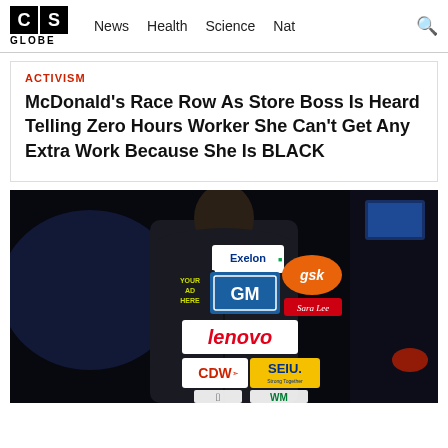CS GLOBE | News  Health  Science  Nat
ACTIVISM
McDonald's Race Row As Store Boss Is Heard Telling Zero Hours Worker She Can't Get Any Extra Work Because She Is BLACK
[Figure (photo): Person in a dark suit seen from behind, with various corporate sponsor logos (Exelon, YOUR AD HERE, GM, gsk, Sara Lee, lenovo, CDW, SEIU, Apple, WM) displayed on the back of the jacket, in a dark broadcast studio setting.]